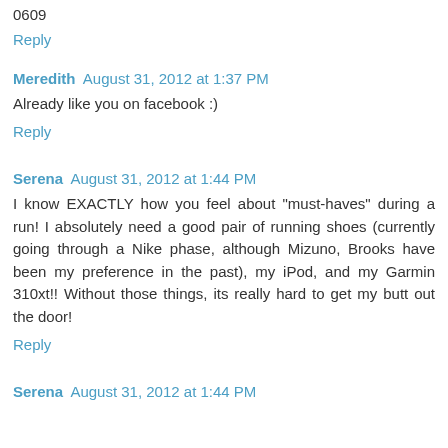0609
Reply
Meredith  August 31, 2012 at 1:37 PM
Already like you on facebook :)
Reply
Serena  August 31, 2012 at 1:44 PM
I know EXACTLY how you feel about "must-haves" during a run! I absolutely need a good pair of running shoes (currently going through a Nike phase, although Mizuno, Brooks have been my preference in the past), my iPod, and my Garmin 310xt!! Without those things, its really hard to get my butt out the door!
Reply
Serena  August 31, 2012 at 1:44 PM